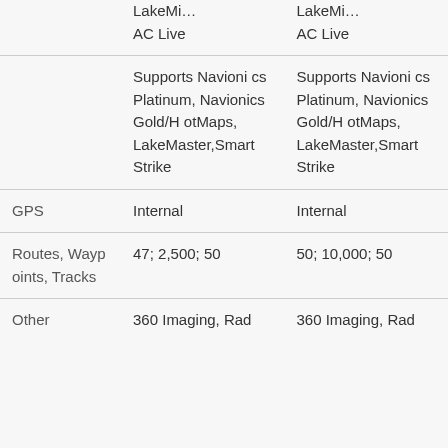|  | Col1 | Col2 |
| --- | --- | --- |
|  | LakeMi…
AC Live | LakeMi…
AC Live |
|  | Supports Navionics Platinum, Navionics Gold/HotMaps, LakeMaster,Smart Strike | Supports Navionics Platinum, Navionics Gold/HotMaps, LakeMaster,Smart Strike |
| GPS | Internal | Internal |
| Routes, Waypoints, Tracks | 47; 2,500; 50 | 50; 10,000; 50 |
| Other | 360 Imaging, Rad | 360 Imaging, Rad |